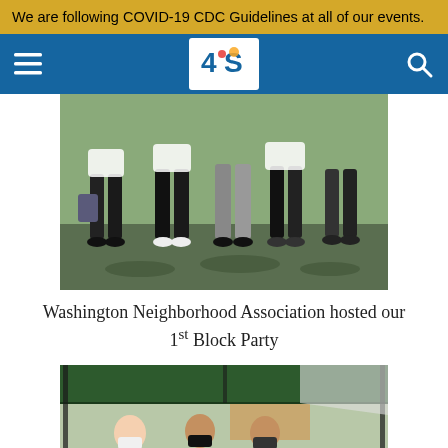We are following COVID-19 CDC Guidelines at all of our events.
[Figure (other): Navigation bar with hamburger menu icon, '4S' neighborhood association logo on white background, and search icon on blue background]
[Figure (photo): Outdoor photo showing people from waist down standing on grass with shadows, carrying bags, at a block party event]
Washington Neighborhood Association hosted our 1st Block Party
[Figure (photo): Outdoor block party photo showing people wearing masks seated under a dark green canopy tent, with a house and vehicles visible in background]